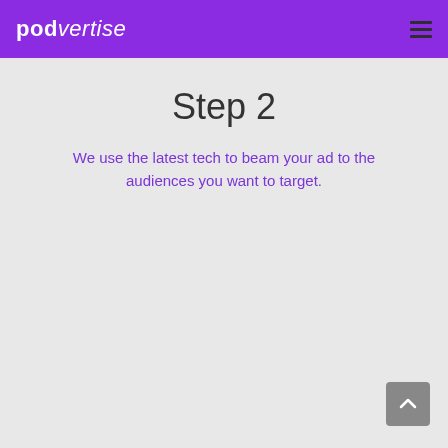podvertise (hamburger menu icon)
Step 2
We use the latest tech to beam your ad to the audiences you want to target.